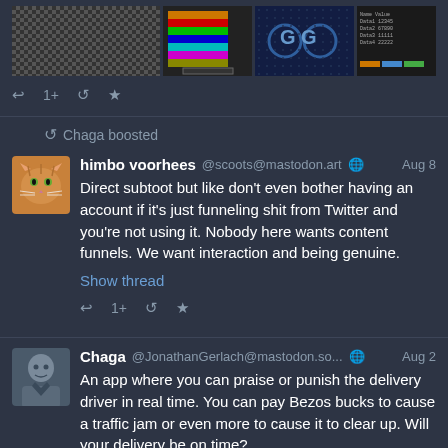[Figure (screenshot): Four thumbnail images in a row: pixel art editor with checkerboard pattern, color palette strip, pixelated photo with blue tones and circles, text/spreadsheet view]
↩ 1+ ↺ ★
↺ Chaga boosted
[Figure (photo): Orange tabby cat avatar for user himbo voorhees]
himbo voorhees @scoots@mastodon.art 🌐 Aug 8
Direct subtoot but like don't even bother having an account if it's just funneling shit from Twitter and you're not using it. Nobody here wants content funnels. We want interaction and being genuine.
Show thread
↩ 1+ ↺ ★
[Figure (photo): Dark-haired person avatar for user Chaga / JonathanGerlach]
Chaga @JonathanGerlach@mastodon.so... 🌐 Aug 2
An app where you can praise or punish the delivery driver in real time. You can pay Bezos bucks to cause a traffic jam or even more to cause it to clear up. Will your delivery be on time?